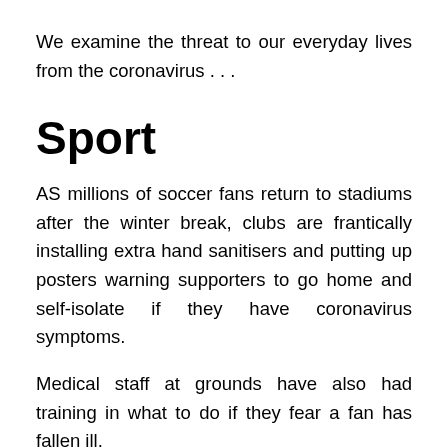We examine the threat to our everyday lives from the coronavirus . . .
Sport
AS millions of soccer fans return to stadiums after the winter break, clubs are frantically installing extra hand sanitisers and putting up posters warning supporters to go home and self-isolate if they have coronavirus symptoms.
Medical staff at grounds have also had training in what to do if they fear a fan has fallen ill.